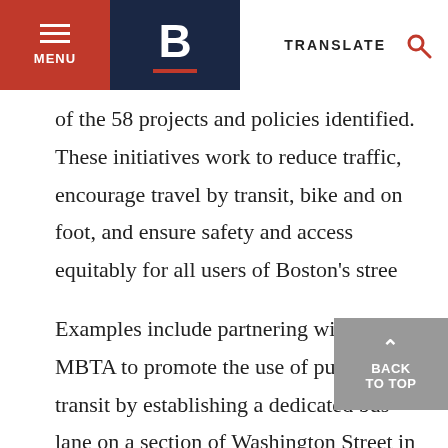MENU | B | TRANSLATE
of the 58 projects and policies identified. These initiatives work to reduce traffic, encourage travel by transit, bike and on foot, and ensure safety and access equitably for all users of Boston's stree
Examples include partnering with the MBTA to promote the use of public transit by establishing a dedicated bus lane on a section of Washington Street in